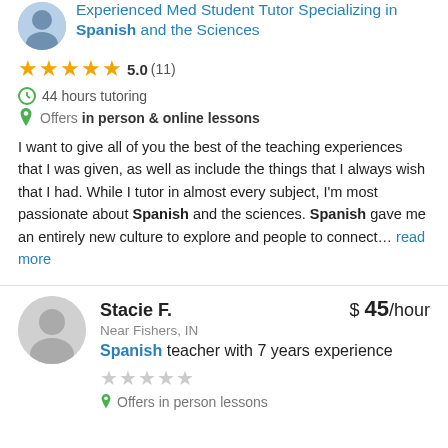Experienced Med Student Tutor Specializing in Spanish and the Sciences
5.0 (11)
44 hours tutoring
Offers in person & online lessons
I want to give all of you the best of the teaching experiences that I was given, as well as include the things that I always wish that I had. While I tutor in almost every subject, I'm most passionate about Spanish and the sciences. Spanish gave me an entirely new culture to explore and people to connect… read more
Stacie F.
$ 45/hour
Near Fishers, IN
Spanish teacher with 7 years experience
Offers in person lessons